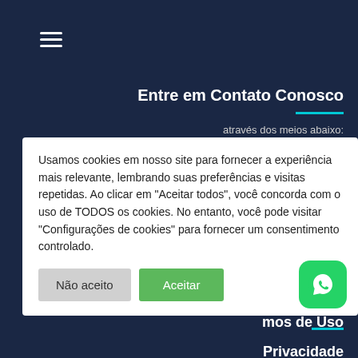[Figure (screenshot): Hamburger menu icon (three horizontal lines) in top left on dark navy background]
Entre em Contato Conosco
através dos meios abaixo:
255 (WhatsApp)
– Marco Antônio
r@elmar.com.br
s@elmar.com.br
Nos encontre em
sso Endereço:
bernardo do Ca
– SP –
mos de Uso
Privacidade
Usamos cookies em nosso site para fornecer a experiência mais relevante, lembrando suas preferências e visitas repetidas. Ao clicar em "Aceitar todos", você concorda com o uso de TODOS os cookies. No entanto, você pode visitar "Configurações de cookies" para fornecer um consentimento controlado.
Não aceito
Aceitar